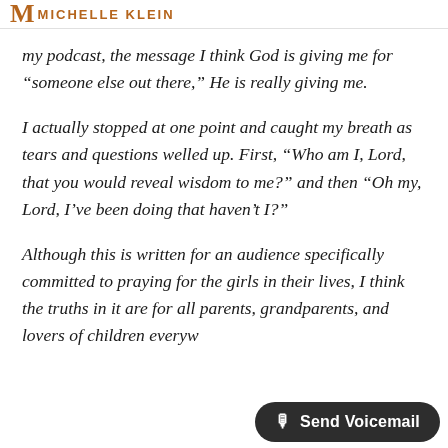MK MICHELLE KLEIN
my podcast, the message I think God is giving me for “someone else out there,” He is really giving me.
I actually stopped at one point and caught my breath as tears and questions welled up. First, “Who am I, Lord, that you would reveal wisdom to me?” and then “Oh my, Lord, I’ve been doing that haven’t I?”
Although this is written for an audience specifically committed to praying for the girls in their lives, I think the truths in it are for all parents, grandparents, and lovers of children everyw
[Figure (other): Send Voicemail button overlay in bottom right corner]